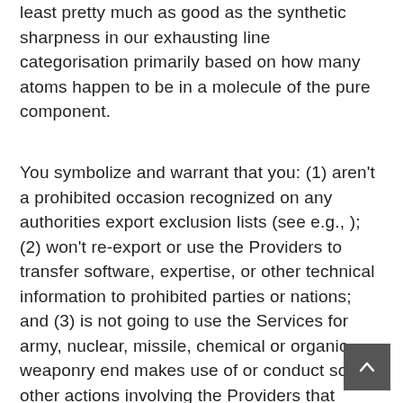least pretty much as good as the synthetic sharpness in our exhausting line categorisation primarily based on how many atoms happen to be in a molecule of the pure component.
You symbolize and warrant that you: (1) aren't a prohibited occasion recognized on any authorities export exclusion lists (see e.g., ); (2) won't re-export or use the Providers to transfer software, expertise, or other technical information to prohibited parties or nations; and (3) is not going to use the Services for army, nuclear, missile, chemical or organic weaponry end makes use of or conduct some other actions involving the Providers that violate the export and import laws of the U.S. or different applicable nations.